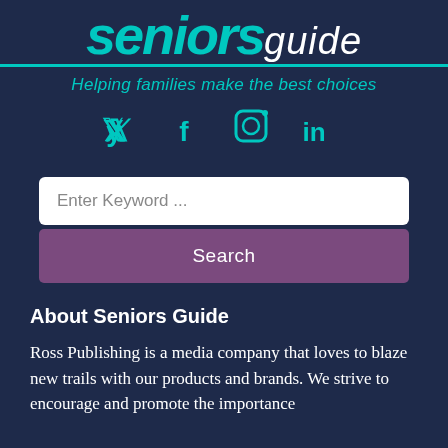seniors guide
Helping families make the best choices
[Figure (infographic): Social media icons: Twitter, Facebook, Instagram, LinkedIn in teal color]
[Figure (infographic): Search input field with placeholder 'Enter Keyword ...' and purple Search button]
About Seniors Guide
Ross Publishing is a media company that loves to blaze new trails with our products and brands. We strive to encourage and promote the importance